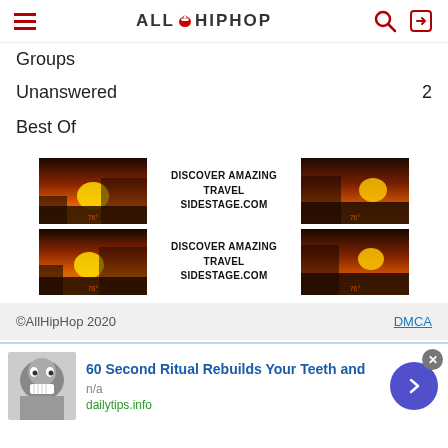AllHipHop
Groups
Unanswered  2
Best Of
[Figure (infographic): Two travel advertisement banners side by side, each showing sunset/landscape photos with text 'DISCOVER AMAZING TRAVEL SIDESTAGE.COM']
©AllHipHop 2020   DMCA
60 Second Ritual Rebuilds Your Teeth and
n/a
dailytips.info